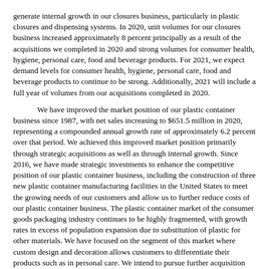generate internal growth in our closures business, particularly in plastic closures and dispensing systems. In 2020, unit volumes for our closures business increased approximately 8 percent principally as a result of the acquisitions we completed in 2020 and strong volumes for consumer health, hygiene, personal care, food and beverage products. For 2021, we expect demand levels for consumer health, hygiene, personal care, food and beverage products to continue to be strong. Additionally, 2021 will include a full year of volumes from our acquisitions completed in 2020.
We have improved the market position of our plastic container business since 1987, with net sales increasing to $651.5 million in 2020, representing a compounded annual growth rate of approximately 6.2 percent over that period. We achieved this improved market position primarily through strategic acquisitions as well as through internal growth. Since 2016, we have made strategic investments to enhance the competitive position of our plastic container business, including the construction of three new plastic container manufacturing facilities in the United States to meet the growing needs of our customers and allow us to further reduce costs of our plastic container business. The plastic container market of the consumer goods packaging industry continues to be highly fragmented, with growth rates in excess of population expansion due to substitution of plastic for other materials. We have focused on the segment of this market where custom design and decoration allows customers to differentiate their products such as in personal care. We intend to pursue further acquisition opportunities in